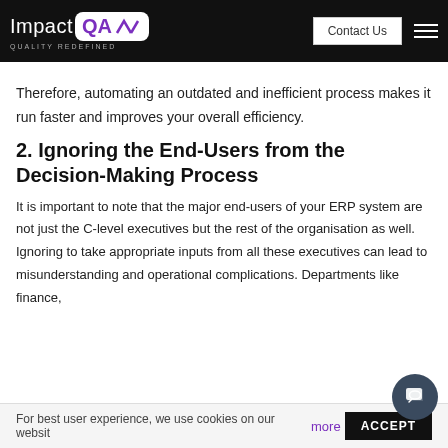Impact QA — Quality Redefined | Contact Us
Therefore, automating an outdated and inefficient process makes it run faster and improves your overall efficiency.
2. Ignoring the End-Users from the Decision-Making Process
It is important to note that the major end-users of your ERP system are not just the C-level executives but the rest of the organisation as well. Ignoring to take appropriate inputs from all these executives can lead to misunderstanding and operational complications. Departments like finance,
For best user experience, we use cookies on our website   more   ACCEPT